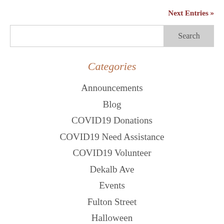Next Entries »
Search
Categories
Announcements
Blog
COVID19 Donations
COVID19 Need Assistance
COVID19 Volunteer
Dekalb Ave
Events
Fulton Street
Halloween
Myrtle Ave